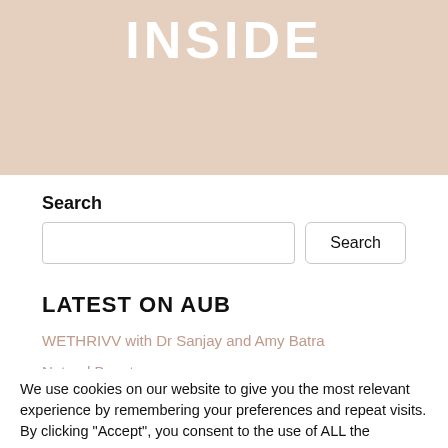[Figure (illustration): Beige/tan hero banner at top of page with the word INSIDE in large white bold uppercase letters]
Search
Search input field with Search button
LATEST ON AUB
WETHRIVV with Dr Sanjay and Amy Batra
Natural Beauty
Dr Ashley Guthrie – Plastic and Reconstructive Surgeon
We use cookies on our website to give you the most relevant experience by remembering your preferences and repeat visits. By clicking "Accept", you consent to the use of ALL the